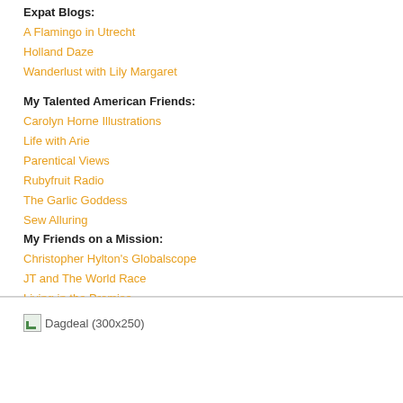Expat Blogs:
A Flamingo in Utrecht
Holland Daze
Wanderlust with Lily Margaret
My Talented American Friends:
Carolyn Horne Illustrations
Life with Arie
Parentical Views
Rubyfruit Radio
The Garlic Goddess
Sew Alluring
My Friends on a Mission:
Christopher Hylton's Globalscope
JT and The World Race
Living in the Promise
[Figure (other): Dagdeal (300x250) advertisement placeholder with broken image icon]